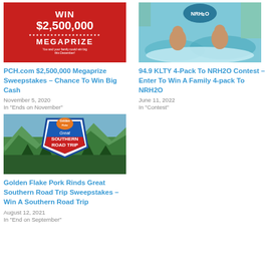[Figure (illustration): Red promotional banner with text WIN $2,500,000 MEGAPRIZE. You and your family could win big this December!]
PCH.com $2,500,000 Megaprize Sweepstakes – Chance To Win Big Cash
November 5, 2020
In "Ends on November"
[Figure (photo): Photo of children in a water park with NRH2O logo visible]
94.9 KLTY 4-Pack To NRH2O Contest – Enter To Win A Family 4-pack To NRH2O
June 11, 2022
In "Contest"
[Figure (illustration): Golden Flake Great Southern Road Trip promotional image with mountain landscape background and shield logo]
Golden Flake Pork Rinds Great Southern Road Trip Sweepstakes – Win A Southern Road Trip
August 12, 2021
In "End on September"